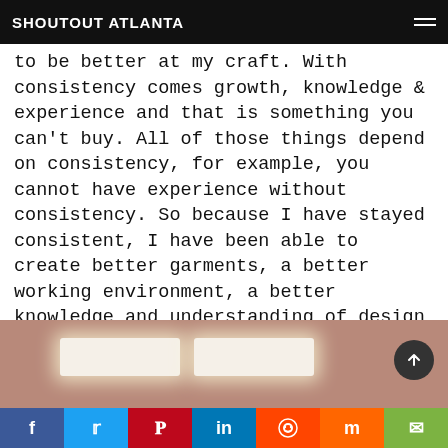SHOUTOUT ATLANTA
to be better at my craft. With consistency comes growth, knowledge & experience and that is something you can't buy. All of those things depend on consistency, for example, you cannot have experience without consistency. So because I have stayed consistent, I have been able to create better garments, a better working environment, a better knowledge and understanding of design & fashion, and just a better business in general. I am more qualified for the my job because of my consistency.
[Figure (photo): Photo of ceiling with two rectangular fluorescent light panels, pinkish-beige ceiling visible.]
Social share bar: Facebook, Twitter, Pinterest, LinkedIn, Reddit, Mix, Email